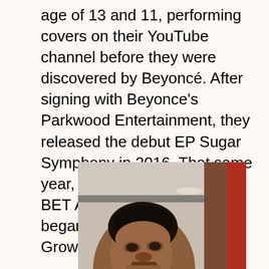age of 13 and 11, performing covers on their YouTube channel before they were discovered by Beyoncé. After signing with Beyonce's Parkwood Entertainment, they released the debut EP Sugar Symphony in 2016. That same year, they performed at the BET Awards. In 2018, she began starring in the series Grown-ish.
[Figure (photo): A man's face photographed in a selfie-style shot, with a brown/wood-paneled background and a red panel visible on the right side of the image.]